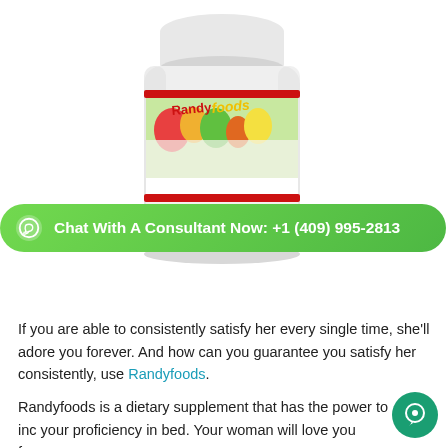[Figure (photo): A white plastic supplement bottle with the Randyfoods label showing vegetables, fruits, and the text 'corrects erectile dysfunctions'. A green rounded WhatsApp chat bar overlays the bottom of the bottle reading 'Chat With A Consultant Now: +1 (409) 995-2813'.]
If you are able to consistently satisfy her every single time, she'll adore you forever. And how can you guarantee you satisfy her consistently, use Randyfoods.
Randyfoods is a dietary supplement that has the power to inc your proficiency in bed. Your woman will love you forever.